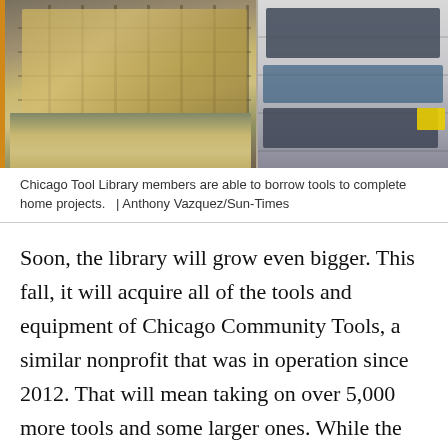[Figure (photo): Two-panel photo showing interior of Chicago Tool Library: left panel shows shelves with green and yellow storage bins/crates on floor; right panel shows metal shelving unit with various tools and equipment including dark cases and bags.]
Chicago Tool Library members are able to borrow tools to complete home projects.   | Anthony Vazquez/Sun-Times
Soon, the library will grow even bigger. This fall, it will acquire all of the tools and equipment of Chicago Community Tools, a similar nonprofit that was in operation since 2012. That will mean taking on over 5,000 more tools and some larger ones. While the Chicago Tool Library primarily serves individuals, Chicago Community Tools serves groups like nonprofits and schools, so it lends tools like generators.
Vierk said the Tool Library is scouring the South Side